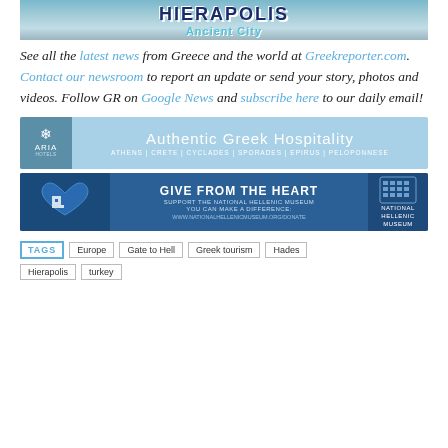[Figure (photo): Hierapolis Ancient City banner image with stylized text overlay on rocky/landscape background]
See all the latest news from Greece and the world at Greekreporter.com. Contact our newsroom to report an update or send your story, photos and videos. Follow GR on Google News and subscribe here to our daily email!
[Figure (infographic): Aria Hotels banner: Authentic Greek Hospitality - Athens | Crete | Cyclades | Sporades | Epirus | Peloponnese]
[Figure (infographic): National Hellenic Museum banner: Give From the Heart - Support the National Hellenic Museum, You Can Make a Difference: www.nationalhellenicmuseum.org/donate]
TAGS  Europe  Gate to Hell  Greek tourism  Hades  Hierapolis  turkey